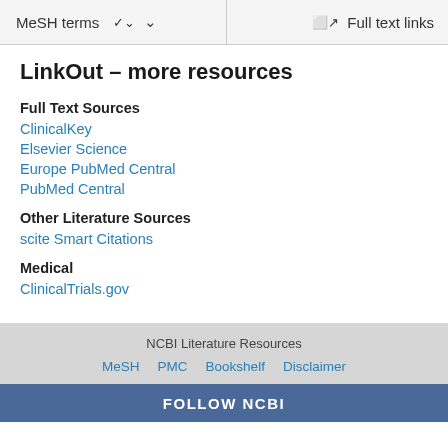MeSH terms  ∨    Full text links
LinkOut – more resources
Full Text Sources
ClinicalKey
Elsevier Science
Europe PubMed Central
PubMed Central
Other Literature Sources
scite Smart Citations
Medical
ClinicalTrials.gov
NCBI Literature Resources  MeSH  PMC  Bookshelf  Disclaimer
FOLLOW NCBI